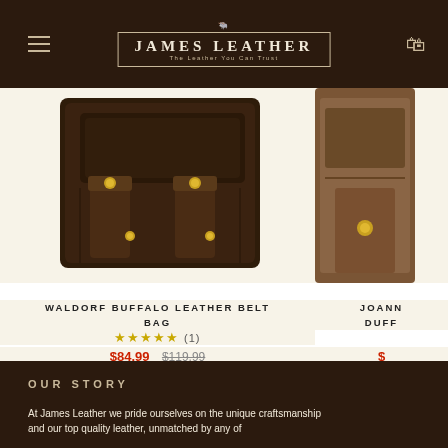JAMES LEATHER — The Leather You Can Trust
[Figure (photo): Dark brown distressed buffalo leather belt bag with brass studs and straps, shown from front angle]
[Figure (photo): Partial view of another leather bag on the right side]
WALDORF BUFFALO LEATHER BELT BAG
★★★★★ (1)
$84.99  $119.99
JOANN DUFF
$
OUR STORY
At James Leather we pride ourselves on the unique craftsmanship and our top quality leather, unmatched by any of